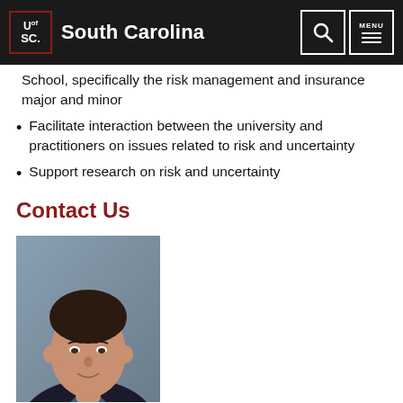University of South Carolina
School, specifically the risk management and insurance major and minor
Facilitate interaction between the university and practitioners on issues related to risk and uncertainty
Support research on risk and uncertainty
Contact Us
[Figure (photo): Headshot photo of Robert Hartwig, a man in a dark suit with a red tie, against a grey-blue background]
Robert Hartwig »